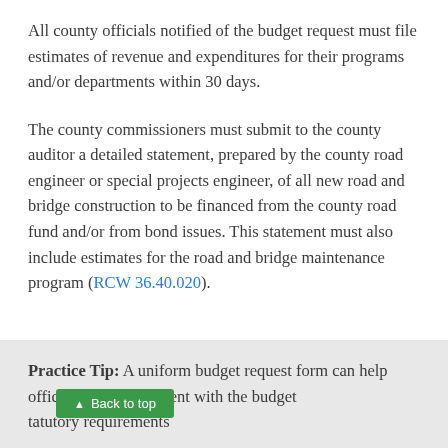All county officials notified of the budget request must file estimates of revenue and expenditures for their programs and/or departments within 30 days.
The county commissioners must submit to the county auditor a detailed statement, prepared by the county road engineer or special projects engineer, of all new road and bridge construction to be financed from the county road fund and/or from bond issues. This statement must also include estimates for the road and bridge maintenance program (RCW 36.40.020).
Practice Tip: A uniform budget request form can help officials provide e[stimates] consistent with the budget [statutory requirements]